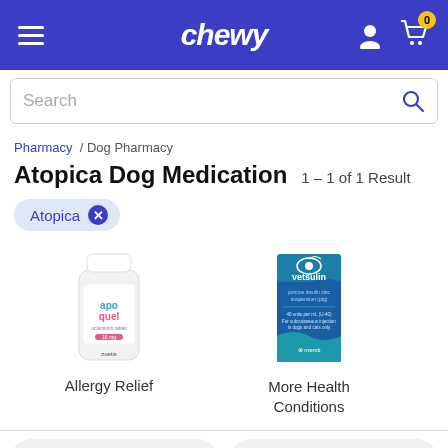chewy
Search
Pharmacy / Dog Pharmacy
Atopica Dog Medication  1 – 1 of 1 Result
Atopica ×
[Figure (photo): Apoquel oclacitinib tablet bottle - Allergy Relief product]
Allergy Relief
[Figure (photo): Vetsulin porcine insulin zinc suspension box - More Health Conditions product]
More Health Conditions
Sort
Filter (1)